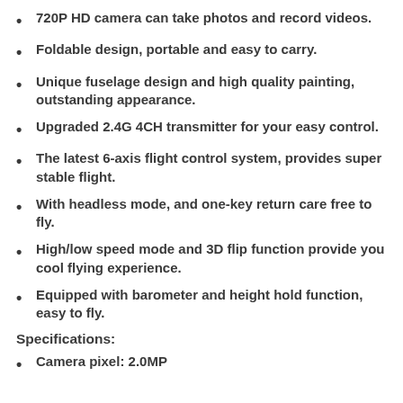720P HD camera can take photos and record videos.
Foldable design, portable and easy to carry.
Unique fuselage design and high quality painting, outstanding appearance.
Upgraded 2.4G 4CH transmitter for your easy control.
The latest 6-axis flight control system, provides super stable flight.
With headless mode, and one-key return care free to fly.
High/low speed mode and 3D flip function provide you cool flying experience.
Equipped with barometer and height hold function, easy to fly.
Specifications:
Camera pixel: 2.0MP